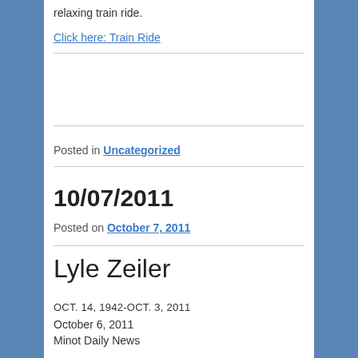relaxing train ride.
Click here: Train Ride
Posted in Uncategorized
10/07/2011
Posted on October 7, 2011
Lyle Zeiler
OCT. 14, 1942-OCT. 3, 2011
October 6, 2011
Minot Daily News